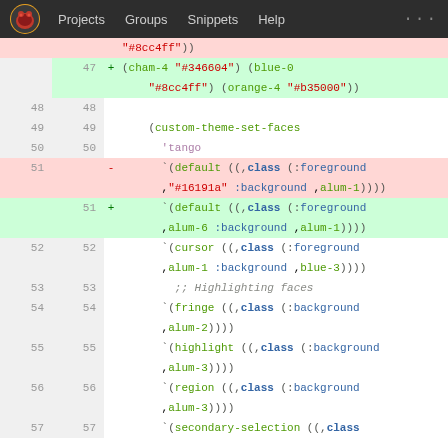Projects  Groups  Snippets  Help  ...
"#8cc4ff"))
47  +  (cham-4 "#346604") (blue-0 "#8cc4ff") (orange-4 "#b35000"))
48  48
49  49   (custom-theme-set-faces
50  50   'tango
51  -   `(default ((,class (:foreground ,"#16191a" :background ,alum-1))))
51  +   `(default ((,class (:foreground ,alum-6 :background ,alum-1))))
52  52   `(cursor ((,class (:foreground ,alum-1 :background ,blue-3))))
53  53   ;; Highlighting faces
54  54   `(fringe ((,class (:background ,alum-2))))
55  55   `(highlight ((,class (:background ,alum-3))))
56  56   `(region ((,class (:background ,alum-3))))
57  57   `(secondary-selection ((,class